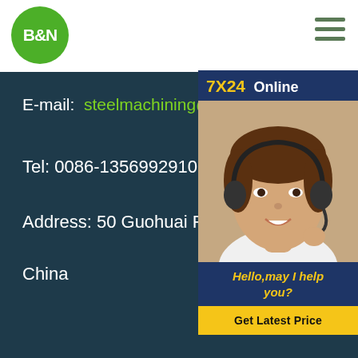[Figure (logo): B&N logo: green circle with white bold text B&N]
[Figure (other): Hamburger menu icon with three horizontal green-gray lines]
E-mail:  steelmachining@yeah.n
Tel: 0086-13569929107
Address: 50 Guohuai Road, Henan
China
[Figure (photo): 7X24 Online chat widget with photo of a smiling woman with a headset, text 'Hello,may I help you?' and a yellow 'Get Latest Price' button]